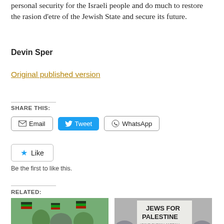personal security for the Israeli people and do much to restore the rasion d'etre of the Jewish State and secure its future.
Devin Sper
Original published version
SHARE THIS:
Email  Tweet  WhatsApp
Like
Be the first to like this.
RELATED:
[Figure (photo): Two images side by side: left shows protesters with Palestinian flags at a rally; right shows a protest sign reading 'JEWS FOR PALESTINE #SAVE SHEIKH JARRAH']